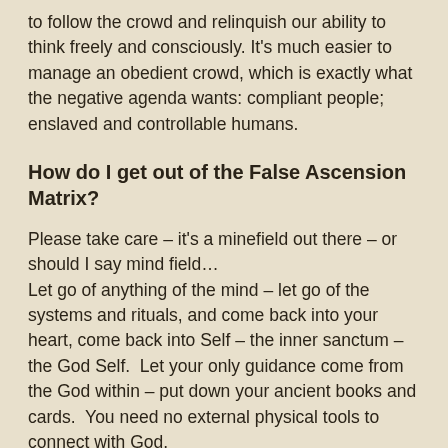to follow the crowd and relinquish our ability to think freely and consciously. It's much easier to manage an obedient crowd, which is exactly what the negative agenda wants: compliant people; enslaved and controllable humans.
How do I get out of the False Ascension Matrix?
Please take care – it's a minefield out there – or should I say mind field…
Let go of anything of the mind – let go of the systems and rituals, and come back into your heart, come back into Self – the inner sanctum – the God Self.  Let your only guidance come from the God within – put down your ancient books and cards.  You need no external physical tools to connect with God.
Only by reclaiming our spiritual identity can we remember our true Divinity. There is much work to be done on ourselves so that we may consciously navigate the timelines of the 5D false ascension matrices. We must pay attention